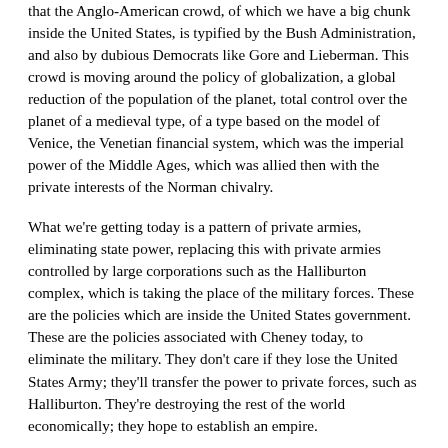that the Anglo-American crowd, of which we have a big chunk inside the United States, is typified by the Bush Administration, and also by dubious Democrats like Gore and Lieberman. This crowd is moving around the policy of globalization, a global reduction of the population of the planet, total control over the planet of a medieval type, of a type based on the model of Venice, the Venetian financial system, which was the imperial power of the Middle Ages, which was allied then with the private interests of the Norman chivalry.
What we're getting today is a pattern of private armies, eliminating state power, replacing this with private armies controlled by large corporations such as the Halliburton complex, which is taking the place of the military forces. These are the policies which are inside the United States government. These are the policies associated with Cheney today, to eliminate the military. They don't care if they lose the United States Army; they'll transfer the power to private forces, such as Halliburton. They're destroying the rest of the world economically; they hope to establish an empire.
This is the real issue. And the threats to Russia, China, and India in Asia, are the real issues. Because, if the United States defends the right of Russia, China, and India to have national sovereignty, then we can unite the world around the idea of restoring the principle of national sovereignty, and can eliminate these evils. If